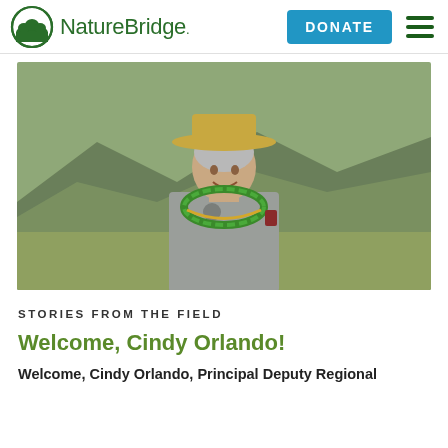NatureBridge
[Figure (photo): Woman smiling wearing a tan park ranger hat, gray uniform shirt with a badge, and a green/yellow leaf lei, standing outdoors in a green mountainous landscape]
STORIES FROM THE FIELD
Welcome, Cindy Orlando!
Welcome, Cindy Orlando, Principal Deputy Regional